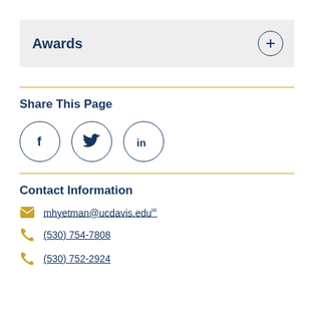Awards
Share This Page
[Figure (infographic): Social media sharing icons: Facebook (f), Twitter (bird), LinkedIn (in) — each in a circle outline]
Contact Information
mhyetman@ucdavis.edu
(530) 754-7808
(530) 752-2924